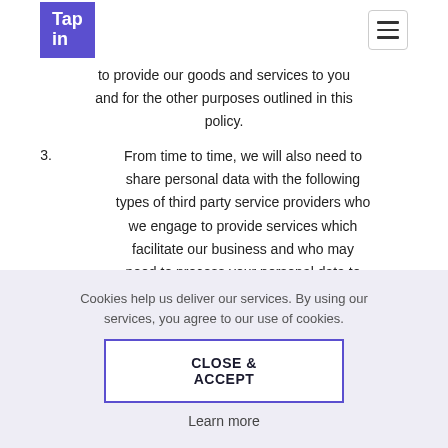[Figure (logo): Tap In logo — white text on purple/indigo square background]
to provide our goods and services to you and for the other purposes outlined in this policy.
3. From time to time, we will also need to share personal data with the following types of third party service providers who we engage to provide services which facilitate our business and who may need to process your personal data to
Cookies help us deliver our services. By using our services, you agree to our use of cookies.
CLOSE & ACCEPT
Learn more